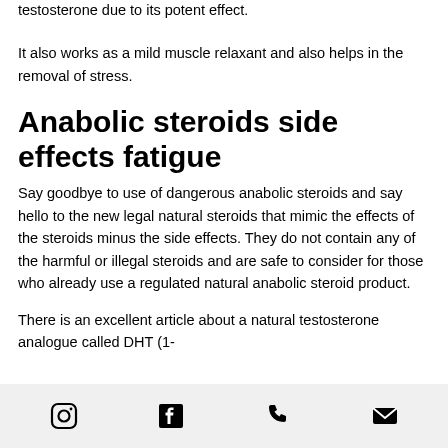testosterone due to its potent effect.
It also works as a mild muscle relaxant and also helps in the removal of stress.
Anabolic steroids side effects fatigue
Say goodbye to use of dangerous anabolic steroids and say hello to the new legal natural steroids that mimic the effects of the steroids minus the side effects. They do not contain any of the harmful or illegal steroids and are safe to consider for those who already use a regulated natural anabolic steroid product.
There is an excellent article about a natural testosterone analogue called DHT (1-
Social media icons: Instagram, Facebook, Phone, Email